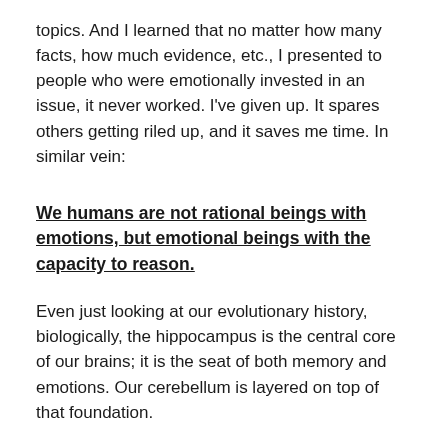topics.  And I learned that no matter how many facts, how much evidence, etc., I presented to people who were emotionally invested in an issue, it never worked.  I've given up.  It spares others getting riled up, and it saves me time.  In similar vein:
We humans are not rational beings with emotions, but emotional beings with the capacity to reason.
Even just looking at our evolutionary history, biologically, the hippocampus is the central core of our brains; it is the seat of both memory and emotions.  Our cerebellum is layered on top of that foundation.